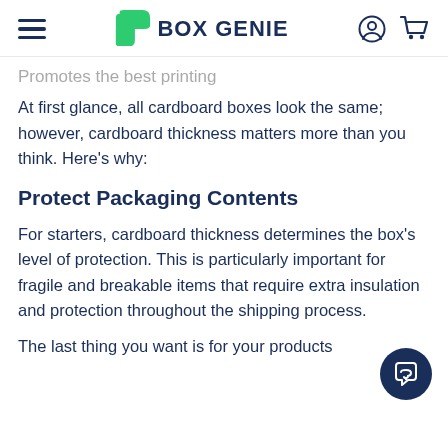BOX GENIE
Promotes the best printing
At first glance, all cardboard boxes look the same; however, cardboard thickness matters more than you think. Here's why:
Protect Packaging Contents
For starters, cardboard thickness determines the box's level of protection. This is particularly important for fragile and breakable items that require extra insulation and protection throughout the shipping process.
The last thing you want is for your products